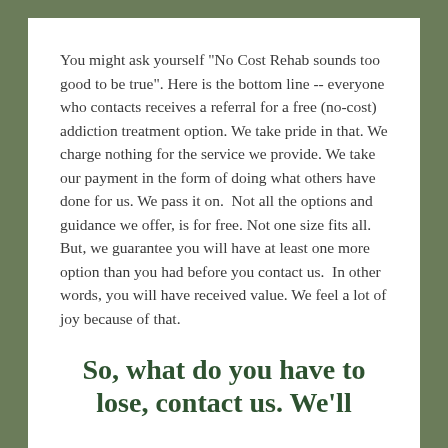You might ask yourself "No Cost Rehab sounds too good to be true". Here is the bottom line -- everyone who contacts receives a referral for a free (no-cost) addiction treatment option. We take pride in that. We charge nothing for the service we provide. We take our payment in the form of doing what others have done for us. We pass it on.  Not all the options and guidance we offer, is for free. Not one size fits all.  But, we guarantee you will have at least one more option than you had before you contact us.  In other words, you will have received value. We feel a lot of joy because of that.
So, what do you have to lose, contact us. We'll